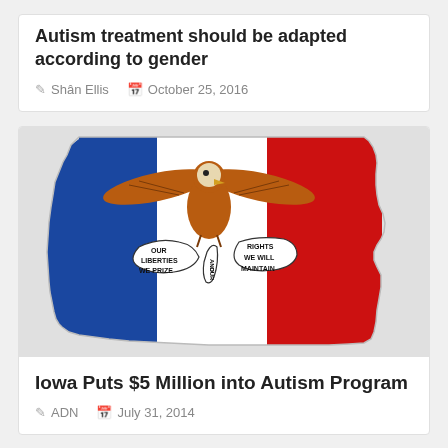Autism treatment should be adapted according to gender
Shân Ellis   October 25, 2016
[Figure (map): Iowa state flag in the shape of Iowa — blue, white, and red vertical stripes with an eagle and banner reading OUR LIBERTIES WE PRIZE AND OUR RIGHTS WE WILL MAINTAIN]
Iowa Puts $5 Million into Autism Program
ADN   July 31, 2014